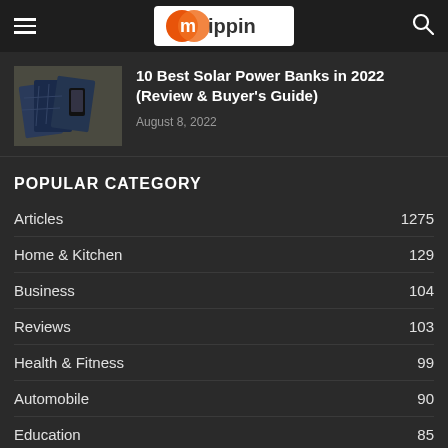mippin
[Figure (photo): Solar power banks laid out on a surface]
10 Best Solar Power Banks in 2022 (Review & Buyer's Guide)
August 8, 2022
POPULAR CATEGORY
Articles 1275
Home & Kitchen 129
Business 104
Reviews 103
Health & Fitness 99
Automobile 90
Education 85
Technology 80